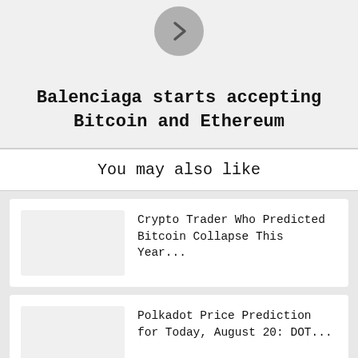[Figure (other): A circular grey arrow button pointing right]
Balenciaga starts accepting Bitcoin and Ethereum
You may also like
Crypto Trader Who Predicted Bitcoin Collapse This Year...
Polkadot Price Prediction for Today, August 20: DOT...